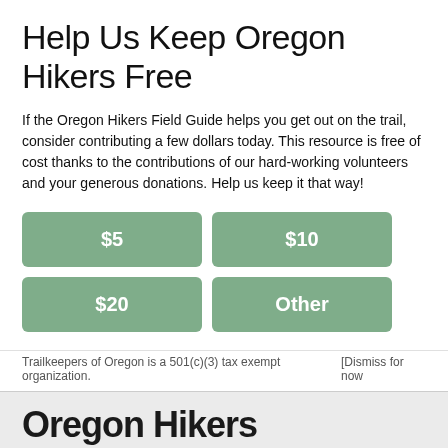Help Us Keep Oregon Hikers Free
If the Oregon Hikers Field Guide helps you get out on the trail, consider contributing a few dollars today. This resource is free of cost thanks to the contributions of our hard-working volunteers and your generous donations. Help us keep it that way!
$5
$10
$20
Other
Trailkeepers of Oregon is a 501(c)(3) tax exempt organization.   [Dismiss for now]
Oregon Hikers
Forums   Field Guide   Maps   Find a Hike!   Login   Register
Board index